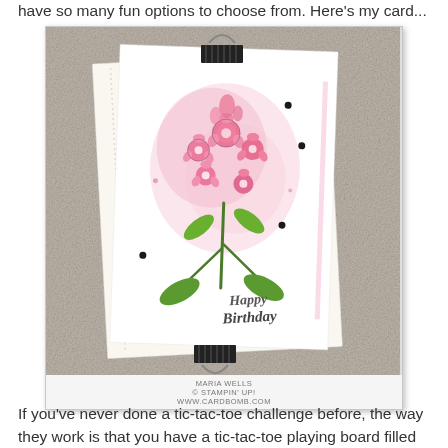have so many fun options to choose from. Here's my card...
[Figure (photo): A handmade birthday card featuring pink watercolor flowers (fireweed/lupine style) with green leaves and a 'Happy Birthday' sentiment in script. The card is clipped with a black binder clip and rests on a stone/concrete surface. Watermark reads: MARIA WELLS © STAMPIN' UP! WWW.CARDBOMB.COM]
If you've never done a tic-tac-toe challenge before, the way they work is that you have a tic-tac-toe playing board filled